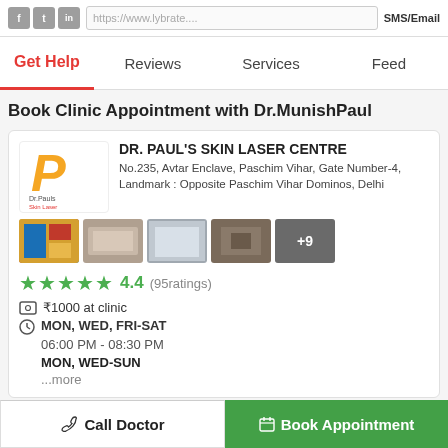f  t  in  |  https://www.lybrate....  |  SMS/Email
Get Help  Reviews  Services  Feed
Book Clinic Appointment with Dr.MunishPaul
DR. PAUL'S SKIN LASER CENTRE
No.235, Avtar Enclave, Paschim Vihar, Gate Number-4, Landmark : Opposite Paschim Vihar Dominos, Delhi
[Figure (photo): Clinic logo and photo thumbnails of Dr. Paul's Skin Laser Centre with +9 more photos indicator]
★★★★★ 4.4 (95ratings)
₹1000 at clinic
MON, WED, FRI-SAT
06:00 PM - 08:30 PM
MON, WED-SUN
...more
Call Doctor  Book Appointment